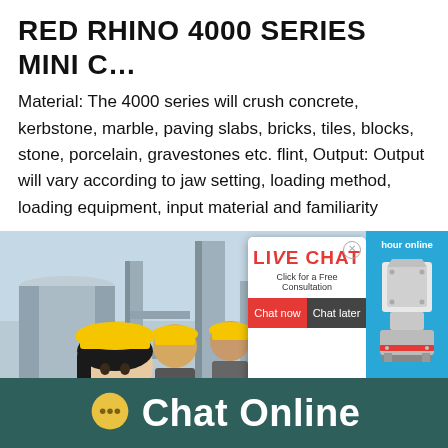RED RHINO 4000 SERIES MINI C…
Material: The 4000 series will crush concrete, kerbstone, marble, paving slabs, bricks, tiles, blocks, stone, porcelain, gravestones etc. flint, Output: Output will vary according to jaw setting, loading method, loading equipment, input material and familiarity
[Figure (screenshot): Industrial scene showing workers in yellow hard hats with a live chat popup overlay. The popup shows 'LIVE CHAT' in red with 'Click for a Free Consultation', and two buttons: 'Chat now' (red) and 'Chat later' (dark). Right side shows a blue panel with 'hour online', an image of a crusher machine, and a 'Click me to chat>>' button. Background shows industrial towers and equipment.]
Chat Online